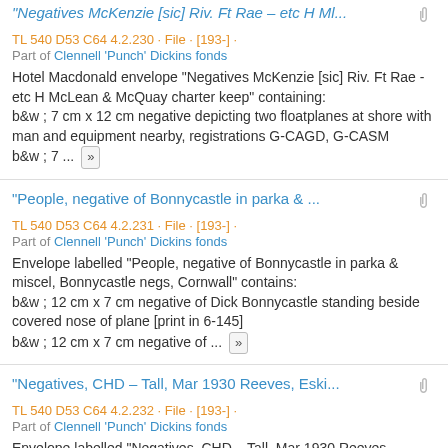"Negatives McKenzie [sic] Riv. Ft Rae – etc H Ml...
TL 540 D53 C64 4.2.230 · File · [193-] ·
Part of Clennell 'Punch' Dickins fonds
Hotel Macdonald envelope "Negatives McKenzie [sic] Riv. Ft Rae - etc H McLean & McQuay charter keep" containing: b&w ; 7 cm x 12 cm negative depicting two floatplanes at shore with man and equipment nearby, registrations G-CAGD, G-CASM b&w ; 7 ... »
"People, negative of Bonnycastle in parka & ...
TL 540 D53 C64 4.2.231 · File · [193-] ·
Part of Clennell 'Punch' Dickins fonds
Envelope labelled "People, negative of Bonnycastle in parka & miscel, Bonnycastle negs, Cornwall" contains: b&w ; 12 cm x 7 cm negative of Dick Bonnycastle standing beside covered nose of plane [print in 6-145] b&w ; 12 cm x 7 cm negative of ... »
"Negatives, CHD – Tall, Mar 1930 Reeves, Eski...
TL 540 D53 C64 4.2.232 · File · [193-] ·
Part of Clennell 'Punch' Dickins fonds
Envelope labelled "Negatives, CHD – Tall, Mar 1930 Reeves,